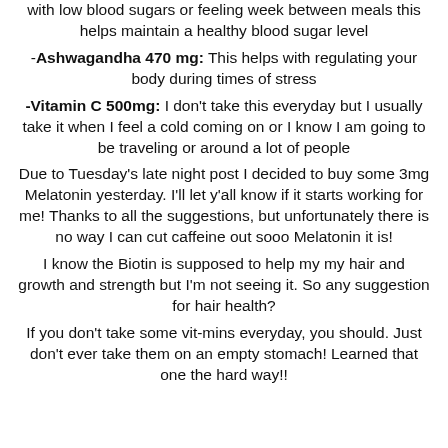with low blood sugars or feeling week between meals this helps maintain a healthy blood sugar level
-Ashwagandha 470 mg: This helps with regulating your body during times of stress
-Vitamin C 500mg: I don't take this everyday but I usually take it when I feel a cold coming on or I know I am going to be traveling or around a lot of people
Due to Tuesday's late night post I decided to buy some 3mg Melatonin yesterday. I'll let y'all know if it starts working for me! Thanks to all the suggestions, but unfortunately there is no way I can cut caffeine out sooo Melatonin it is!
I know the Biotin is supposed to help my my hair and growth and strength but I'm not seeing it. So any suggestion for hair health?
If you don't take some vit-mins everyday, you should. Just don't ever take them on an empty stomach! Learned that one the hard way!!